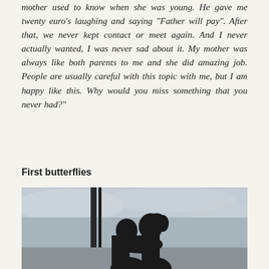mother used to know when she was young. He gave me twenty euro's laughing and saying "Father will pay". After that, we never kept contact or meet again. And I never actually wanted, I was never sad about it. My mother was always like both parents to me and she did amazing job. People are usually careful with this topic with me, but I am happy like this. Why would you miss something that you never had?"
First butterflies
[Figure (photo): Silhouette of two people kissing, with a cloudy sky and what appears to be a window or architectural element in the background. Black and white / monochrome photo.]